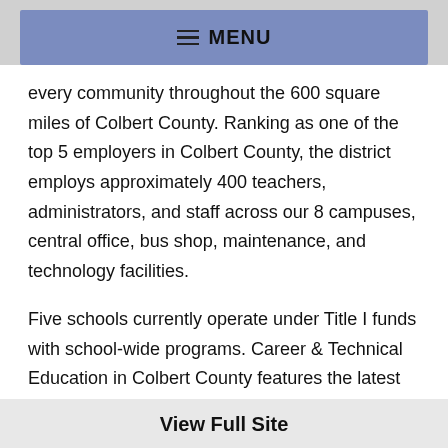MENU
every community throughout the 600 square miles of Colbert County. Ranking as one of the top 5 employers in Colbert County, the district employs approximately 400 teachers, administrators, and staff across our 8 campuses, central office, bus shop, maintenance, and technology facilities.
Five schools currently operate under Title I funds with school-wide programs. Career & Technical Education in Colbert County features the latest innovative programs, countless examples of student representation at state and national competitions, and incredible instructors who are
View Full Site